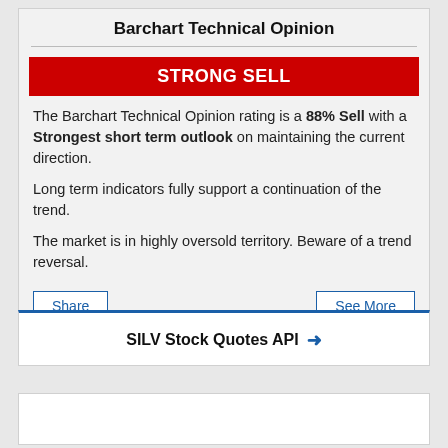Barchart Technical Opinion
STRONG SELL
The Barchart Technical Opinion rating is a 88% Sell with a Strongest short term outlook on maintaining the current direction.
Long term indicators fully support a continuation of the trend.
The market is in highly oversold territory. Beware of a trend reversal.
SILV Stock Quotes API →